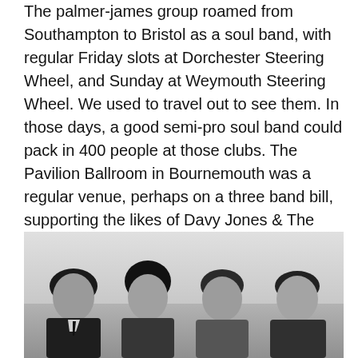The palmer-james group roamed from Southampton to Bristol as a soul band, with regular Friday slots at Dorchester Steering Wheel, and Sunday at Weymouth Steering Wheel. We used to travel out to see them. In those days, a good semi-pro soul band could pack in 400 people at those clubs. The Pavilion Ballroom in Bournemouth was a regular venue, perhaps on a three band bill, supporting the likes of Davy Jones & The Lower Third (David Bowie) who were in turn supporting headliners. The Royal Ballrooms in Boscombe (now the O2 Academy) was another regular venue.
[Figure (photo): Black and white photograph of four young men with long hair, likely from the 1960s or early 1970s, positioned side by side facing the camera.]